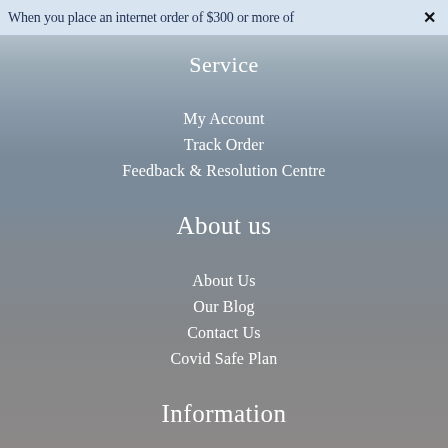When you place an internet order of $300 or more of   ✕
Service
My Account
Track Order
Feedback & Resolution Centre
About us
About Us
Our Blog
Contact Us
Covid Safe Plan
Information
Terms of Use
Returns Policy